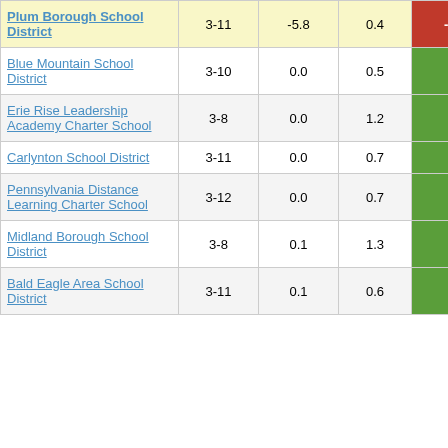| School/District | Grades | Col3 | Col4 | Score |
| --- | --- | --- | --- | --- |
| Plum Borough School District | 3-11 | -5.8 | 0.4 | -13.65 |
| Blue Mountain School District | 3-10 | 0.0 | 0.5 | 0.07 |
| Erie Rise Leadership Academy Charter School | 3-8 | 0.0 | 1.2 | 0.03 |
| Carlynton School District | 3-11 | 0.0 | 0.7 | 0.06 |
| Pennsylvania Distance Learning Charter School | 3-12 | 0.0 | 0.7 | 0.07 |
| Midland Borough School District | 3-8 | 0.1 | 1.3 | 0.07 |
| Bald Eagle Area School District | 3-11 | 0.1 | 0.6 | 0.16 |